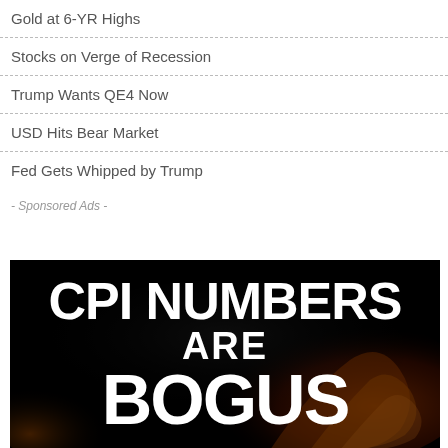Gold at 6-YR Highs
Stocks on Verge of Recession
Trump Wants QE4 Now
USD Hits Bear Market
Fed Gets Whipped by Trump
- Sponsored Ads -
[Figure (infographic): Advertisement image with black background and fire/smoke effects. Bold white text reads 'CPI NUMBERS ARE BOGUS']